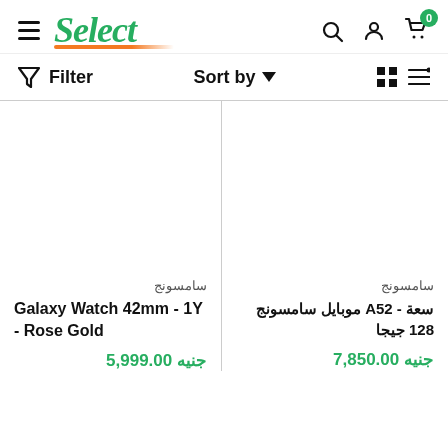Select — e-commerce header with hamburger menu, logo, search, user, cart (0) icons
Filter   Sort by ∨   grid/list toggle
سامسونج
Galaxy Watch 42mm - 1Y - Rose Gold
جنيه 5,999.00
سامسونج
سعة - A52 موبايل سامسونج 128 جيجا
جنيه 7,850.00